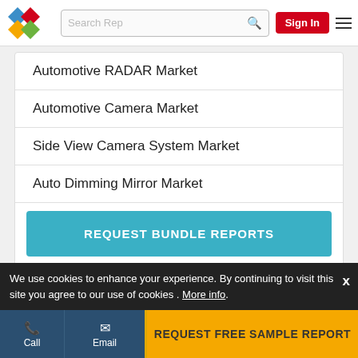[Figure (logo): Colorful diamond pattern logo with blue, red, yellow, green diamonds]
Automotive RADAR Market
Automotive Camera Market
Side View Camera System Market
Auto Dimming Mirror Market
REQUEST BUNDLE REPORTS
We use cookies to enhance your experience. By continuing to visit this site you agree to our use of cookies . More info.
REQUEST FREE SAMPLE REPORT